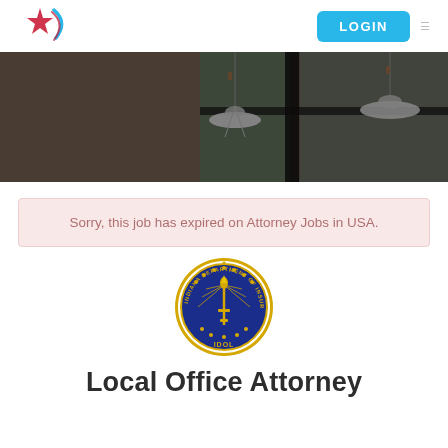[Figure (logo): Star logo with red/blue shooting star design]
[Figure (screenshot): LOGIN button (cyan/blue rounded rectangle)]
[Figure (photo): Hero photo of an office interior with hanging pendant lights and large windows]
Sorry, this job has expired on Attorney Jobs in USA.
[Figure (logo): Indiana Department of Insurance (IDOI) circular seal — blue and gold with torch and stars]
Local Office Attorney